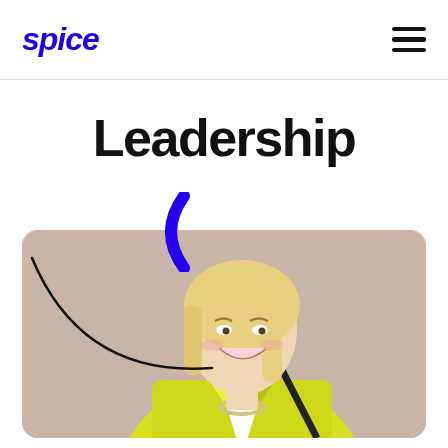spice
Leadership
[Figure (photo): A smiling blonde woman wearing a yellow blazer and statement necklace, photographed against a concrete wall background. Decorative blue bracket and black arc overlaid on the image.]